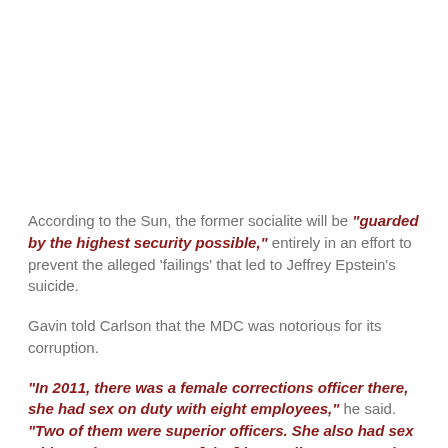According to the Sun, the former socialite will be "guarded by the highest security possible," entirely in an effort to prevent the alleged 'failings' that led to Jeffrey Epstein's suicide.
Gavin told Carlson that the MDC was notorious for its corruption.
"In 2011, there was a female corrections officer there, she had sex on duty with eight employees," he said. "Two of them were superior officers. She also had sex with two inmates … We [also] have a lieutenant and two corrections officers recently who were convicted